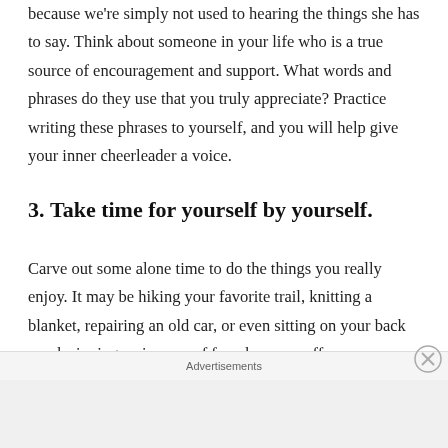because we're simply not used to hearing the things she has to say. Think about someone in your life who is a true source of encouragement and support. What words and phrases do they use that you truly appreciate? Practice writing these phrases to yourself, and you will help give your inner cheerleader a voice.
3. Take time for yourself by yourself.
Carve out some alone time to do the things you really enjoy. It may be hiking your favorite trail, knitting a blanket, repairing an old car, or even sitting on your back porch sipping a nice cup of french-press coffee.
Advertisements